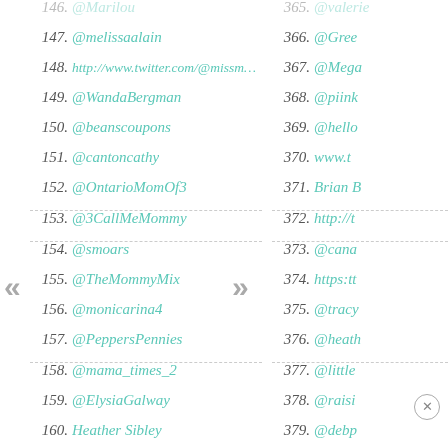146. @Marilou
147. @melissaalain
148. http://www.twitter.com/@missmouse33
149. @WandaBergman
150. @beanscoupons
151. @cantoncathy
152. @OntarioMomOf3
153. @3CallMeMommy
154. @smoars
155. @TheMommyMix
156. @monicarina4
157. @PeppersPennies
158. @mama_times_2
159. @ElysiaGalway
160. Heather Sibley
161. @sisbley_h
162. @jaelynwb
365. @valerie...
366. @Gree...
367. @Mega...
368. @piink...
369. @hello...
370. www.t...
371. Brian ...
372. http://t...
373. @cana...
374. https:tt...
375. @tracy...
376. @heath...
377. @little...
378. @raisi...
379. @debp...
380. htt...
381. @Aion...